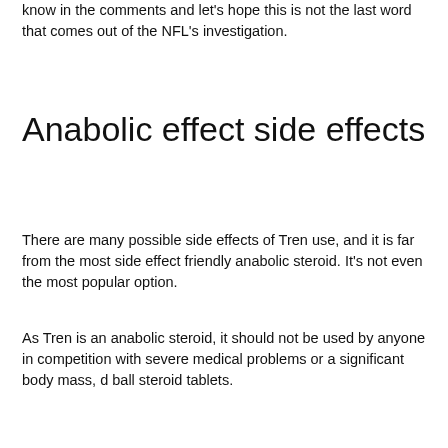know in the comments and let's hope this is not the last word that comes out of the NFL's investigation.
Anabolic effect side effects
There are many possible side effects of Tren use, and it is far from the most side effect friendly anabolic steroid. It's not even the most popular option.
As Tren is an anabolic steroid, it should not be used by anyone in competition with severe medical problems or a significant body mass, d ball steroid tablets.
While Tren is a safe steroid, it's not a completely risk free option and there is a possibility of long-term adverse effects.